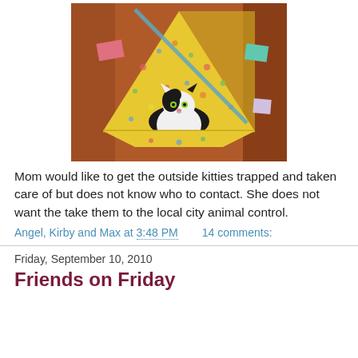[Figure (photo): A black and white cat sitting inside a small yellow polka-dot fabric tent/shelter on a brown couch. The tent has pink and teal fabric pieces. The cat looks directly at the camera.]
Mom would like to get the outside kitties trapped and taken care of but does not know who to contact. She does not want the take them to the local city animal control.
Angel, Kirby and Max at 3:48 PM    14 comments:
Friday, September 10, 2010
Friends on Friday